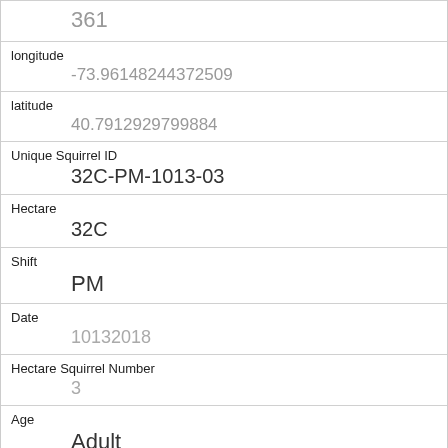| Field | Value |
| --- | --- |
|  | 361 |
| longitude | -73.96148244372509 |
| latitude | 40.7912929799884 |
| Unique Squirrel ID | 32C-PM-1013-03 |
| Hectare | 32C |
| Shift | PM |
| Date | 10132018 |
| Hectare Squirrel Number | 3 |
| Age | Adult |
| Primary Fur Color | Gray |
| Highlight Fur Color |  |